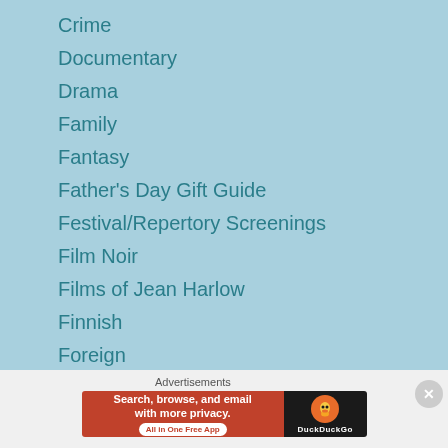Crime
Documentary
Drama
Family
Fantasy
Father's Day Gift Guide
Festival/Repertory Screenings
Film Noir
Films of Jean Harlow
Finnish
Foreign
French
Fridays With...
[Figure (screenshot): DuckDuckGo advertisement banner: 'Search, browse, and email with more privacy. All in One Free App' with DuckDuckGo logo on dark background]